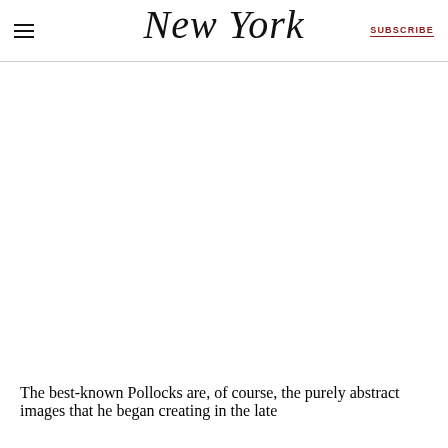New York | SUBSCRIBE
[Figure (photo): Large image area (white/blank) occupying the middle portion of the page, typical of an article hero image placeholder]
The best-known Pollocks are, of course, the purely abstract images that he began creating in the late